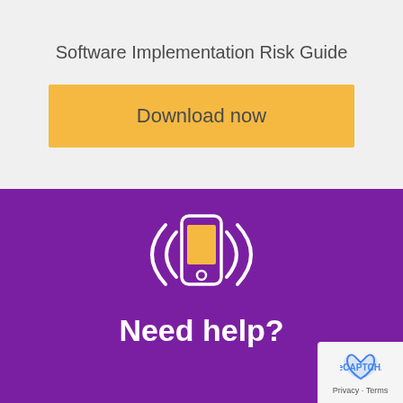Software Implementation Risk Guide
Download now
[Figure (illustration): Phone icon with vibration lines on purple background]
Need help?